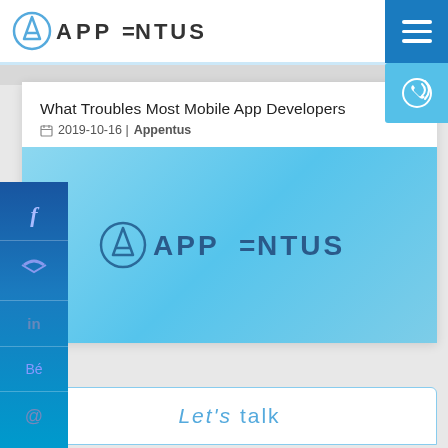APPENTUS
What Troubles Most Mobile App Developers
2019-10-16 | Appentus
[Figure (logo): Appentus logo on light blue background]
Let's talk